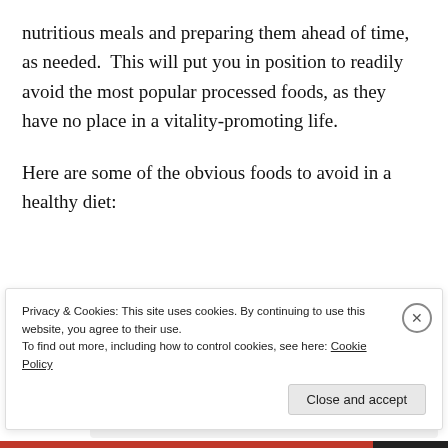nutritious meals and preparing them ahead of time, as needed.  This will put you in position to readily avoid the most popular processed foods, as they have no place in a vitality-promoting life.
Here are some of the obvious foods to avoid in a healthy diet:
[Figure (other): Advertisement widget with bold text 'And free.' and four circular avatar images, the last being a blue circle with a plus sign.]
Privacy & Cookies: This site uses cookies. By continuing to use this website, you agree to their use.
To find out more, including how to control cookies, see here: Cookie Policy
Close and accept